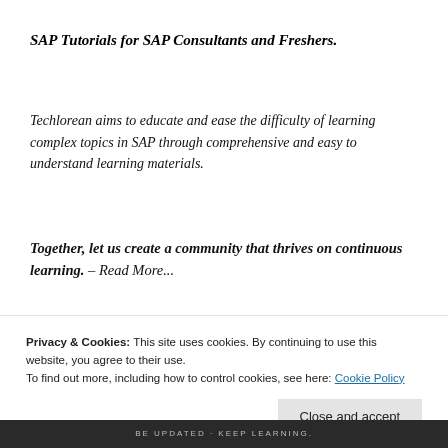SAP Tutorials for SAP Consultants and Freshers.
Techlorean aims to educate and ease the difficulty of learning complex topics in SAP through comprehensive and easy to understand learning materials.
Together, let us create a community that thrives on continuous learning. – Read More...
I invite you to join the community by signing up for email updates and / or dropping by social media.
Privacy & Cookies: This site uses cookies. By continuing to use this website, you agree to their use. To find out more, including how to control cookies, see here: Cookie Policy
Close and accept